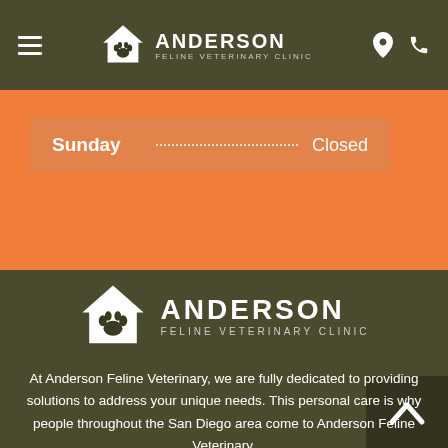ANDERSON FELINE VETERINARY CLINIC
| Day |  | Status |
| --- | --- | --- |
| Sunday | ... | Closed |
[Figure (logo): Anderson Feline Veterinary Clinic logo with paw print in house shape]
At Anderson Feline Veterinary, we are fully dedicated to providing solutions to address your unique needs. This personal care is why people throughout the San Diego area come to Anderson Feline Veterinary.